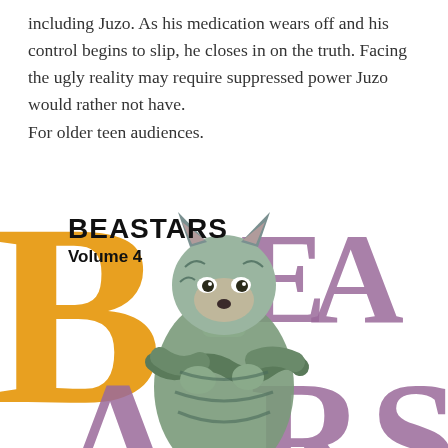including Juzo. As his medication wears off and his control begins to slip, he closes in on the truth. Facing the ugly reality may require suppressed power Juzo would rather not have.
For older teen audiences.
[Figure (illustration): BEASTARS Volume 4 manga cover art showing an anthropomorphic wolf character crouching with arms crossed, wearing tattered clothing. Background features large letters 'BEASTARS' in orange and purple. Title text 'BEASTARS Volume 4' overlaid in bold black.]